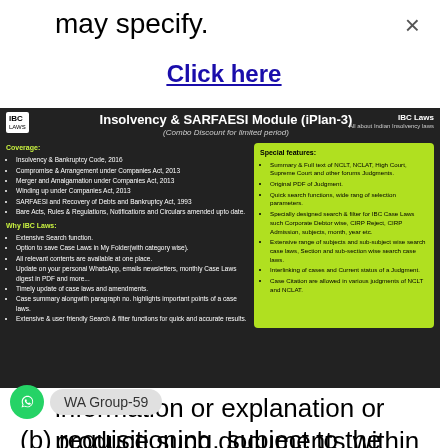may specify.
Click here
[Figure (screenshot): Advertisement banner for IBC Laws Insolvency & SARFAESI Module (iPlan-3), dark background with green highlighted special features box on the right. Coverage lists: Insolvency & Bankruptcy Code 2016, Compromise & Arrangement under Companies Act 2013, Merger and Amalgamation under Companies Act 2013, Winding up under Companies Act 2013, SARFAESI and Recovery of Debts and Bankruptcy Act 1993, Bare Acts Rules & Regulations Notifications and Circulars amended upto date. Why IBC Laws: Extensive Search function, Option to save Case Laws in My Folder with category wise, All relevant contents are available at one place, Update on your personal WhatsApp emails newsletters monthly Case Laws digest in PDF and more, Timely update of case laws and amendments, Case summary alongwith paragraph no highlights important points of a case laws, Extensive & user friendly Search & filter functions for quick and accurate results. Special features: Summary & Full text of NCLT NCLAT High Court Supreme Court and other forums Judgments, Original PDF of Judgment, Quick search functions wide range of selection parameters, Specially designed search & filter for IBC Case Laws such Corporate Debtor wise CIRP Reject CIRP Admission subjects month year etc, Extensive range of subjects and sub-subject wise search case laws Section and sub-section wise search case laws, Interlinking of cases and Current status of a judgment, Case Citation are allowed in various judgments of NCLT and NCLAT.]
information or explanation or produce such documents within such reasonable time, as it may deem necessary; and
WA Group-59
(b) requisitioning, subject to the provisions of sections 123 and 124 of the Indian Evidence